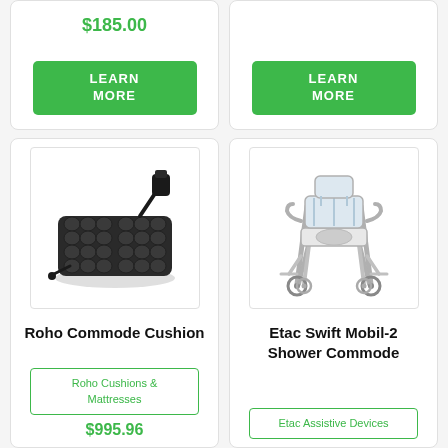$185.00
LEARN MORE
LEARN MORE
[Figure (photo): Roho Commode Cushion - a black air cell cushion with pump attachment]
Roho Commode Cushion
Roho Cushions & Mattresses
$995.96
[Figure (photo): Etac Swift Mobil-2 Shower Commode - a wheeled shower commode chair in silver/white]
Etac Swift Mobil-2 Shower Commode
Etac Assistive Devices